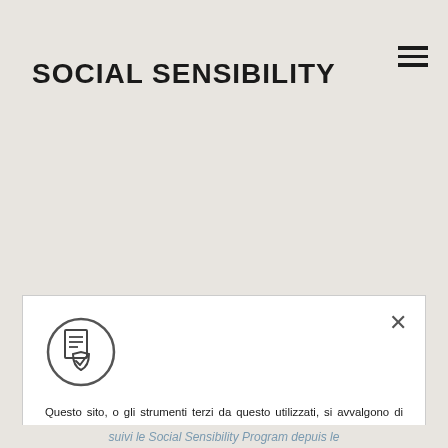SOCIAL SENSIBILITY
[Figure (other): Hamburger menu icon (three horizontal lines) in top-right corner]
[Figure (other): Cookie/document icon inside a circle — document with checkmark shield]
Questo sito, o gli strumenti terzi da questo utilizzato, si avvalgono di cookies necessari al funzionamento ed utili alle finalità illustrate nella Cookie Policy. Se vuoi saperne di più o negare il consenso a tutti o ad alcuni cookie, consulta il link: Cookie Policy. Per maggiori informazioni sul Trattamento dei dati: Privacy Policy.
Chiudendo questo banner, cliccando il pulsante "Accetta", scorrendo questa pagina, cliccando su un link o proseguendo la navigazione in altra maniera, acconsenti all'uso dei cookie. I cookie abilitati scadranno il 20/02/2023.
ACCETTA
RIFIUTA
Approfondisci e configura
suivi le Social Sensibility Program depuis le